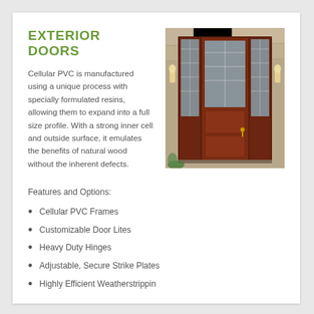EXTERIOR DOORS
Cellular PVC is manufactured using a unique process with specially formulated resins, allowing them to expand into a full size profile. With a strong inner cell and outside surface, it emulates the benefits of natural wood without the inherent defects.
[Figure (photo): Photo of a dark mahogany exterior door set with decorative glass lite panels and two sidelights, set in a stone exterior entryway.]
Features and Options:
Cellular PVC Frames
Customizable Door Lites
Heavy Duty Hinges
Adjustable, Secure Strike Plates
Highly Efficient Weatherstrippin